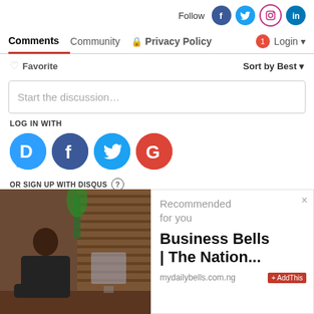Follow
Comments  Community  🔒 Privacy Policy  Login
♡ Favorite     Sort by Best
Start the discussion...
LOG IN WITH
[Figure (other): Social login icons: Disqus (D), Facebook (f), Twitter bird, Google (G)]
OR SIGN UP WITH DISQUS ?
[Figure (photo): Photo of a man in dark traditional attire seated at a desk in an office, with wooden venetian blinds in background and a monitor visible]
Recommended for you
Business Bells | The Nation...
mydailybells.com.ng  + AddThis